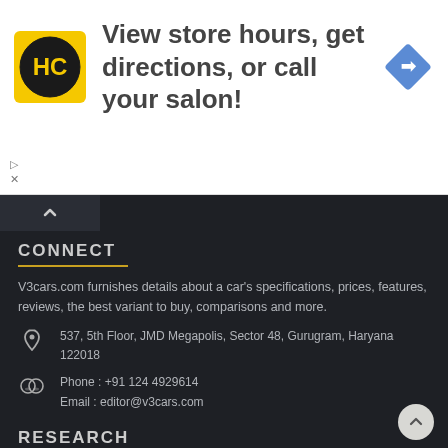[Figure (infographic): Advertisement banner: HC logo (black circle with H and C letters on yellow background), text 'View store hours, get directions, or call your salon!', blue diamond navigation icon on right]
View store hours, get directions, or call your salon!
CONNECT
V3cars.com furnishes details about a car's specifications, prices, features, reviews, the best variant to buy, comparisons and more.
537, 5th Floor, JMD Megapolis, Sector 48, Gurugram, Haryana 122018
Phone : +91 124 4929614
Email : editor@v3cars.com
RESEARCH